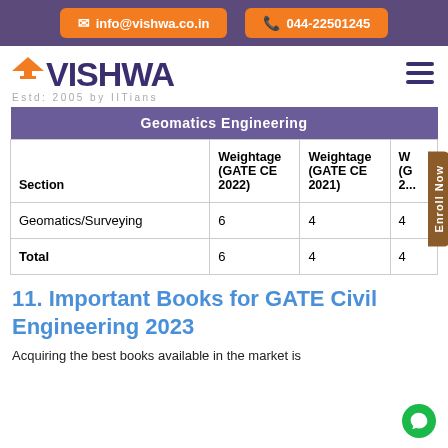info@vishwa.co.in | 044-22501245
[Figure (logo): Vishwa logo with graduation cap, text 'VISHWA' and 'Estd: 2005 by IITians']
| Section | Weightage (GATE CE 2022) | Weightage (GATE CE 2021) | W (G 2... |
| --- | --- | --- | --- |
| Geomatics/Surveying | 6 | 4 | 4 |
| Total | 6 | 4 | 4 |
11. Important Books for GATE Civil Engineering 2023
Acquiring the best books available in the market is